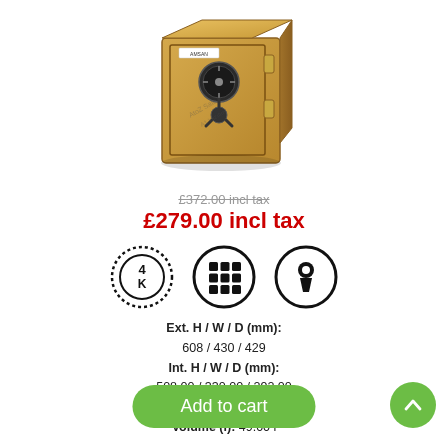[Figure (photo): Gold/yellow colored safe with combination lock dial and three-way locking handle, door slightly open, product photo on white background with watermark 'AtoZ Safe A1 Yazılım']
£372.00 incl tax
£279.00 incl tax
[Figure (illustration): Three circular icons: (1) dotted circle with '4K' text indicating grade/rating, (2) solid circle with 3x3 grid of squares indicating electronic keypad lock, (3) solid circle with keyhole icon indicating key lock]
Ext. H / W / D (mm): 608 / 430 / 429 Int. H / W / D (mm): 508.00 / 330.00 / 292.00 Weight (kg): 242 Volume (l): 49.00 l